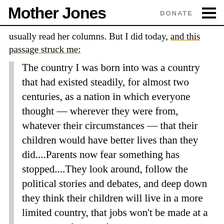Mother Jones  DONATE
usually read her columns. But I did today, and this passage struck me:
The country I was born into was a country that had existed steadily, for almost two centuries, as a nation in which everyone thought — wherever they were from, whatever their circumstances — that their children would have better lives than they did....Parents now fear something has stopped....They look around, follow the political stories and debates, and deep down they think their children will live in a more limited country, that jobs won't be made at a great enough pace, that taxes —